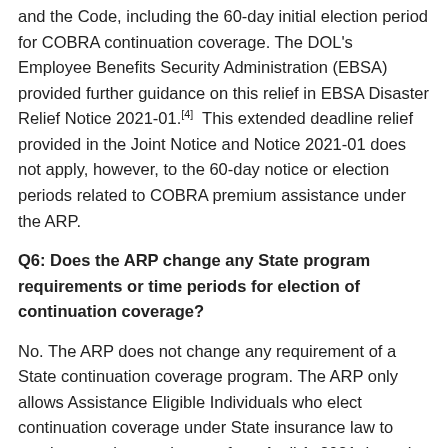and the Code, including the 60-day initial election period for COBRA continuation coverage. The DOL's Employee Benefits Security Administration (EBSA) provided further guidance on this relief in EBSA Disaster Relief Notice 2021-01.[4]  This extended deadline relief provided in the Joint Notice and Notice 2021-01 does not apply, however, to the 60-day notice or election periods related to COBRA premium assistance under the ARP.
Q6: Does the ARP change any State program requirements or time periods for election of continuation coverage?
No. The ARP does not change any requirement of a State continuation coverage program. The ARP only allows Assistance Eligible Individuals who elect continuation coverage under State insurance law to receive premium assistance from April 1, 2021 through September 30, 2021. It also allows Assistance Eligible Individuals to switch to other coverage offered to similarly situated